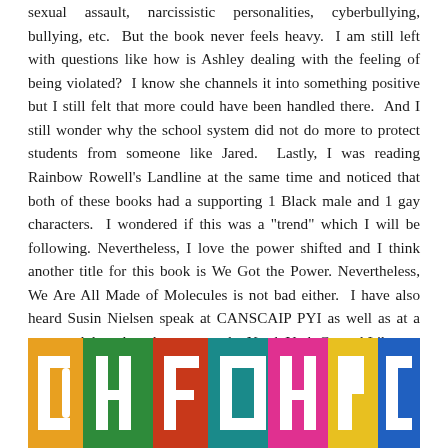sexual assault, narcissistic personalities, cyberbullying, bullying, etc. But the book never feels heavy. I am still left with questions like how is Ashley dealing with the feeling of being violated? I know she channels it into something positive but I still felt that more could have been handled there. And I still wonder why the school system did not do more to protect students from someone like Jared. Lastly, I was reading Rainbow Rowell's Landline at the same time and noticed that both of these books had a supporting 1 Black male and 1 gay characters. I wondered if this was a "trend" which I will be following. Nevertheless, I love the power shifted and I think another title for this book is We Got the Power. Nevertheless, We Are All Made of Molecules is not bad either. I have also heard Susin Nielsen speak at CANSCAIP PYI as well as at a young adult author showcase at the North York Central Library. Way to go for this award-winning Canadian middle grade novel.
[Figure (photo): Colorful book cover image showing large white letters against multicolored background sections including green, orange, red, teal, pink, and yellow.]